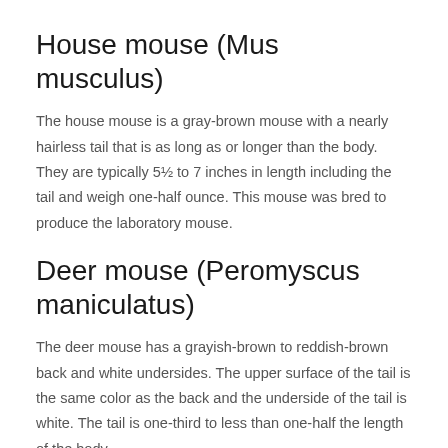House mouse (Mus musculus)
The house mouse is a gray-brown mouse with a nearly hairless tail that is as long as or longer than the body. They are typically 5½ to 7 inches in length including the tail and weigh one-half ounce. This mouse was bred to produce the laboratory mouse.
Deer mouse (Peromyscus maniculatus)
The deer mouse has a grayish-brown to reddish-brown back and white undersides. The upper surface of the tail is the same color as the back and the underside of the tail is white. The tail is one-third to less than one-half the length of the body.